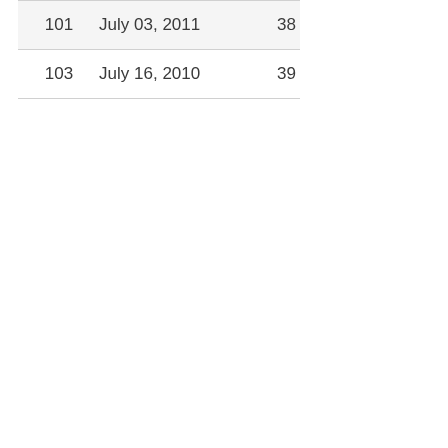| 101 | July 03, 2011 | 38 |
| 103 | July 16, 2010 | 39 |